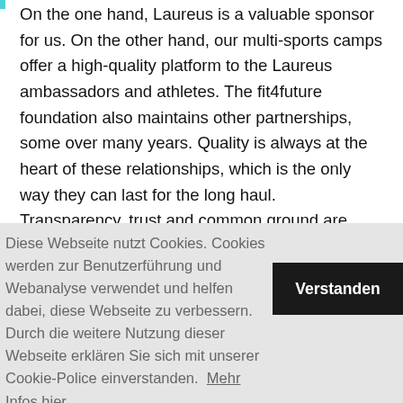On the one hand, Laureus is a valuable sponsor for us. On the other hand, our multi-sports camps offer a high-quality platform to the Laureus ambassadors and athletes. The fit4future foundation also maintains other partnerships, some over many years. Quality is always at the heart of these relationships, which is the only way they can last for the long haul. Transparency, trust and common ground are important here, especially when it comes to projects relating to schools. 'When partnering with companies to work with schools, it is important to point out the possibilities and the no-go areas from the very start,' says Vögeli. 'For instance, product placement in schools is an absolute no-
Diese Webseite nutzt Cookies. Cookies werden zur Benutzerführung und Webanalyse verwendet und helfen dabei, diese Webseite zu verbessern. Durch die weitere Nutzung dieser Webseite erklären Sie sich mit unserer Cookie-Police einverstanden.  Mehr Infos hier